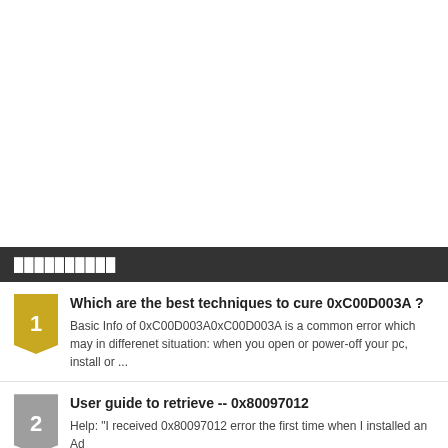██████████
Which are the best techniques to cure 0xC00D003A ?
Basic Info of 0xC00D003A0xC00D003A is a common error which may in differenet situation: when you open or power-off your pc, install or ...
User guide to retrieve -- 0x80097012
Help: "I received 0x80097012 error the first time when I installed an Ad